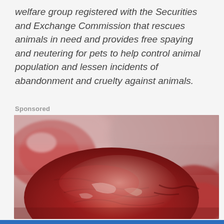welfare group registered with the Securities and Exchange Commission that rescues animals in need and provides free spaying and neutering for pets to help control animal population and lessen incidents of abandonment and cruelty against animals.
Sponsored
[Figure (photo): Close-up photo of raw red meat cuts (beef) on a surface, with blurred background showing more meat pieces]